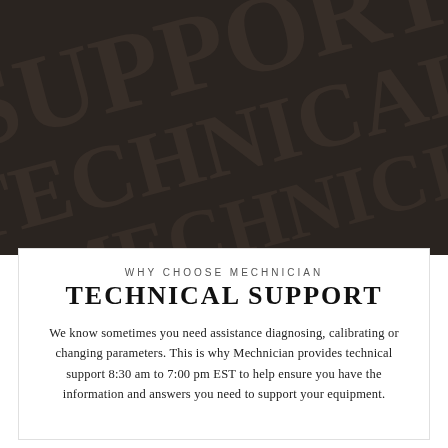[Figure (photo): Dark background with large embossed/watermark-style text or pattern, very dark brown/charcoal color, showing diagonal text elements in a dark decorative style]
WHY CHOOSE MECHNICIAN
TECHNICAL SUPPORT
We know sometimes you need assistance diagnosing, calibrating or changing parameters. This is why Mechnician provides technical support 8:30 am to 7:00 pm EST to help ensure you have the information and answers you need to support your equipment.